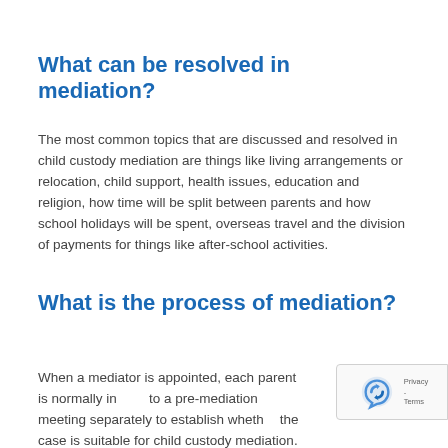What can be resolved in mediation?
The most common topics that are discussed and resolved in child custody mediation are things like living arrangements or relocation, child support, health issues, education and religion, how time will be split between parents and how school holidays will be spent, overseas travel and the division of payments for things like after-school activities.
What is the process of mediation?
When a mediator is appointed, each parent is normally invited to a pre-mediation meeting separately to establish whether the case is suitable for child custody mediation.  If you have